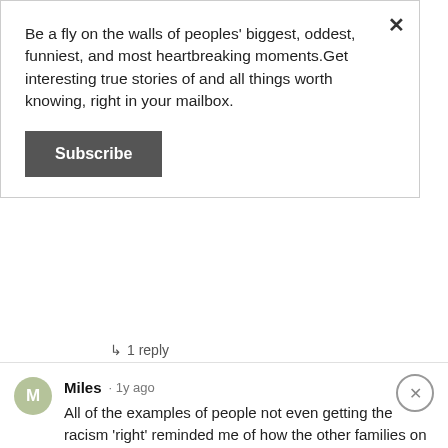Be a fly on the walls of peoples' biggest, oddest, funniest, and most heartbreaking moments.Get interesting true stories of and all things worth knowing, right in your mailbox.
Subscribe
↳ 1 reply
Miles · 1y ago
All of the examples of people not even getting the racism 'right' reminded me of how the other families on our block used to call my family 'the posh Greeks' because we all (except my British mum) had tan skin that went very brown in the s…See more (Edited)
Reply · 👍 4 👎 · ↑
Miles · 1y ago
Once I moved to the USA, I realized racism against Hispanic people is definitely more than the...